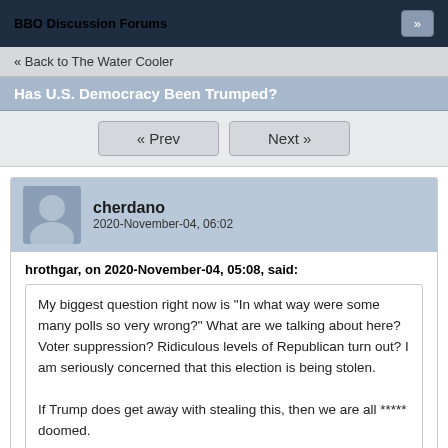BBO Discussion Forums
« Back to The Water Cooler
Has U.S. Democracy Been Trumped?
« Prev   Next »
cherdano
2020-November-04, 06:02
hrothgar, on 2020-November-04, 05:08, said:
My biggest question right now is "In what way were some many polls so very wrong?" What are we talking about here? Voter suppression? Ridiculous levels of Republican turn out? I am seriously concerned that this election is being stolen.

If Trump does get away with stealing this, then we are all ***** doomed.
Can I offer an easier explanation? Loads of voters were enthusiastic